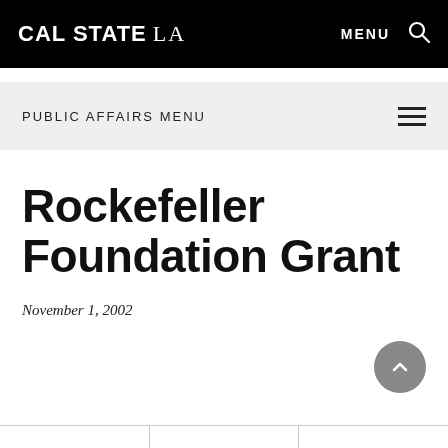CAL STATE LA — MENU
PUBLIC AFFAIRS MENU
Rockefeller Foundation Grant
November 1, 2002